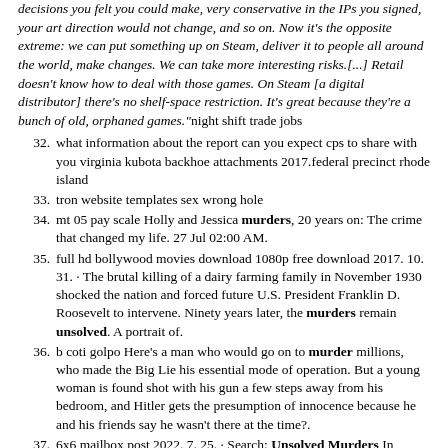decisions you felt you could make, very conservative in the IPs you signed, your art direction would not change, and so on. Now it's the opposite extreme: we can put something up on Steam, deliver it to people all around the world, make changes. We can take more interesting risks.[...] Retail doesn't know how to deal with those games. On Steam [a digital distributor] there's no shelf-space restriction. It's great because they're a bunch of old, orphaned games."night shift trade jobs
32. what information about the report can you expect cps to share with you virginia kubota backhoe attachments 2017.federal precinct rhode island
33. tron website templates sex wrong hole
34. mt 05 pay scale Holly and Jessica murders, 20 years on: The crime that changed my life. 27 Jul 02:00 AM.
35. full hd bollywood movies download 1080p free download 2017. 10. 31. · The brutal killing of a dairy farming family in November 1930 shocked the nation and forced future U.S. President Franklin D. Roosevelt to intervene. Ninety years later, the murders remain unsolved. A portrait of.
36. b coti golpo Here's a man who would go on to murder millions, who made the Big Lie his essential mode of operation. But a young woman is found shot with his gun a few steps away from his bedroom, and Hitler gets the presumption of innocence because he and his friends say he wasn't there at the time?.
37. 6x6 mailbox post 2022. 7. 25. · Search: Unsolved Murders In Florida. Case # 346628-Z They were intrigued when it was brought